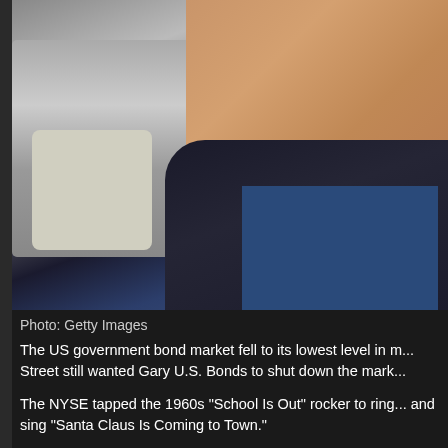[Figure (photo): A smiling man wearing a dark blazer over a blue t-shirt, photographed near a car with a light-colored interior visible in the background.]
Photo: Getty Images
The US government bond market fell to its lowest level in m... Street still wanted Gary U.S. Bonds to shut down the mark...
The NYSE tapped the 1960s "School Is Out" rocker to ring... and sing "Santa Claus Is Coming to Town."
In other financial puns - Bonds' autobiography is titled "By U...